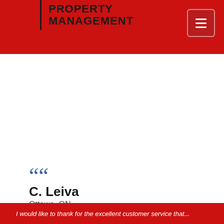PROPERTY MANAGEMENT
““
C. Leiva
Ottawa, ON
I would like to thank for the excellent customer service that...